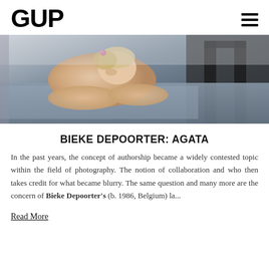GUP
[Figure (photo): A person resting their head and arms on a flat surface (possibly a bed or table with blue/grey fabric), shot from above. The subject appears to have light skin and blonde hair with a small floral accessory. Dark chairs visible in background.]
BIEKE DEPOORTER: AGATA
In the past years, the concept of authorship became a widely contested topic within the field of photography. The notion of collaboration and who then takes credit for what became blurry. The same question and many more are the concern of Bieke Depoorter's (b. 1986, Belgium) la...
Read More